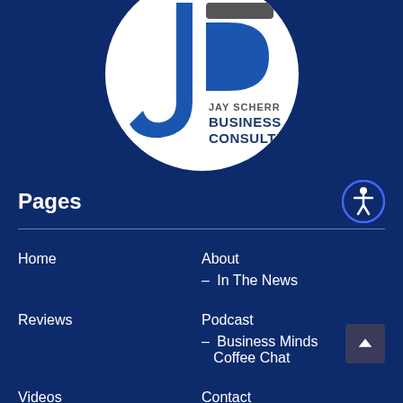[Figure (logo): Jay Scherr Business Consulting logo — white circle with a blue stylized J and the text JAY SCHERR BUSINESS CONSULTING on a dark navy background]
Pages
Home
About
– In The News
Reviews
Podcast
– Business Minds Coffee Chat
Videos
Contact